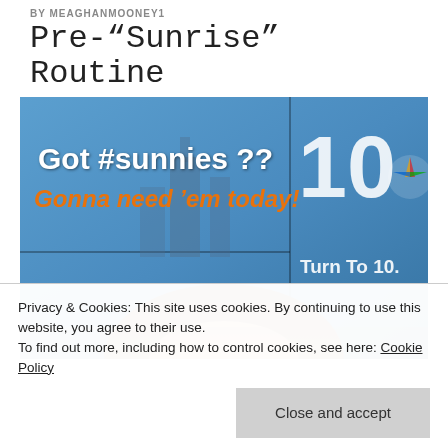BY MEAGHANMOONEY1
Pre-“Sunrise” Routine
[Figure (photo): Selfie photo of a woman in front of a TV news studio screen showing 'Got #sunnies ??' in white text and 'Gonna need ’em today!' in orange text, with a '10' logo and 'Turn To 10' branding visible.]
Privacy & Cookies: This site uses cookies. By continuing to use this website, you agree to their use.
To find out more, including how to control cookies, see here: Cookie Policy
Close and accept